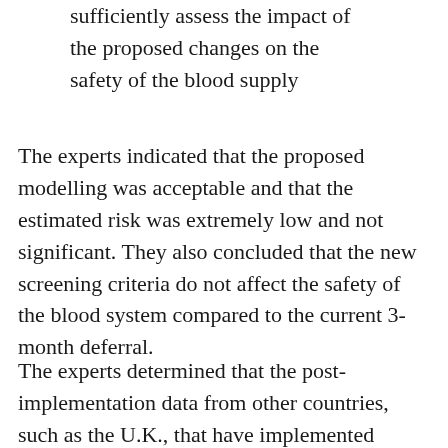sufficiently assess the impact of the proposed changes on the safety of the blood supply
The experts indicated that the proposed modelling was acceptable and that the estimated risk was extremely low and not significant. They also concluded that the new screening criteria do not affect the safety of the blood system compared to the current 3-month deferral.
The experts determined that the post-implementation data from other countries, such as the U.K., that have implemented